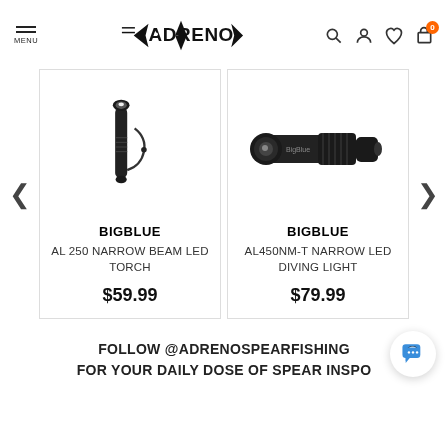MENU | ADRENO (logo) | search, account, wishlist, cart (0)
[Figure (photo): Product photo of BIGBLUE AL 250 Narrow Beam LED Torch - a black elongated flashlight/torch]
BIGBLUE
AL 250 NARROW BEAM LED TORCH
$59.99
[Figure (photo): Product photo of BIGBLUE AL450NM-T Narrow LED Diving Light - a black compact tactical flashlight]
BIGBLUE
AL450NM-T NARROW LED DIVING LIGHT
$79.99
FOLLOW @ADRENOSPEARFISHING FOR YOUR DAILY DOSE OF SPEAR INSPO